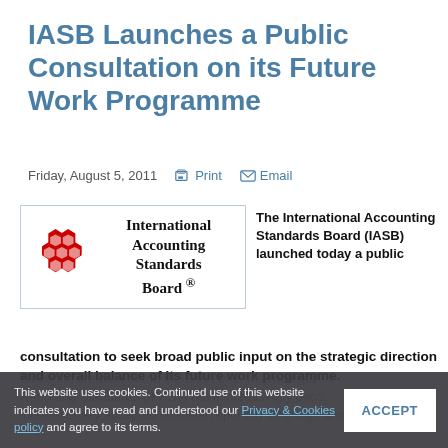IASB Launches a Public Consultation on its Future Work Programme
Friday, August 5, 2011   Print   Email
[Figure (logo): International Accounting Standards Board logo with red hexagonal pattern and bold text 'International Accounting Standards Board ®']
The International Accounting Standards Board (IASB) launched today a public consultation to seek broad public input on the strategic direction and overall balance of its future work programme.
Since the creation of the IASB in 2001, International Financial Reporting Standards (IFRSs) have increasingly become the internationally accepted financial reporting language around the
This website uses cookies. Continued use of this website indicates you have read and understood our Privacy & Cookies policy and agree to its terms.  ACCEPT